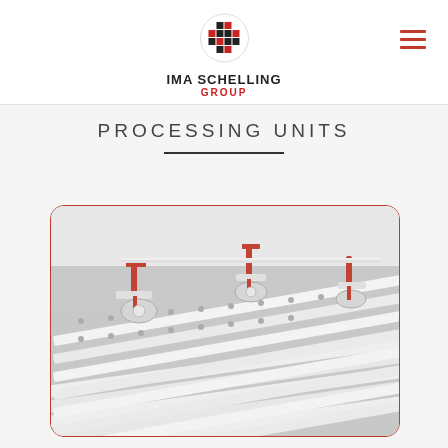IMA SCHELLING GROUP
PROCESSING UNITS
[Figure (photo): Industrial processing unit with white roller conveyor system and red robotic suction cup arms mounted above, showing mechanical handling equipment for panel processing.]